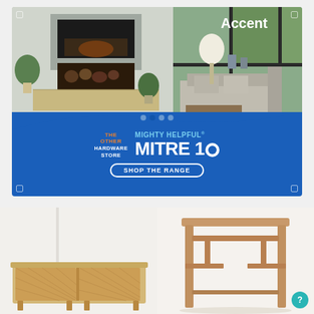[Figure (infographic): Mitre 10 advertisement banner showing a living room with fireplace, sofa and plants. Blue section at bottom reads: THE OTHER HARDWARE STORE / MIGHTY HELPFUL MITRE 10 / SHOP THE RANGE button.]
[Figure (photo): Product photo of a light wood sideboard/cabinet with woven cane door fronts on white background.]
[Figure (photo): Product photo of a rustic wooden console table with cross-bar stretchers on white background.]